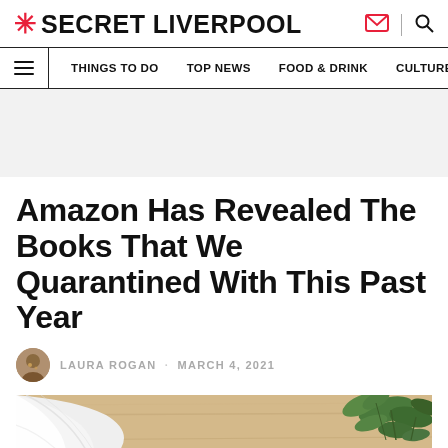* SECRET LIVERPOOL
THINGS TO DO  TOP NEWS  FOOD & DRINK  CULTURE
Amazon Has Revealed The Books That We Quarantined With This Past Year
LAURA ROGAN · MARCH 4, 2021
[Figure (photo): A flatlay photo showing white linen fabric, light wood surface with green eucalyptus leaves in the upper right corner — a cozy quarantine reading scene.]